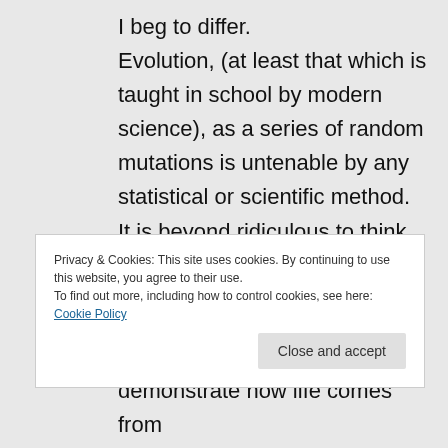I beg to differ. Evolution, (at least that which is taught in school by modern science), as a series of random mutations is untenable by any statistical or scientific method. It is beyond ridiculous to think, and therefor demoted to a espousing a faithful belief, that man is the result of random chance mutations
Privacy & Cookies: This site uses cookies. By continuing to use this website, you agree to their use. To find out more, including how to control cookies, see here: Cookie Policy
demonstrate how life comes from